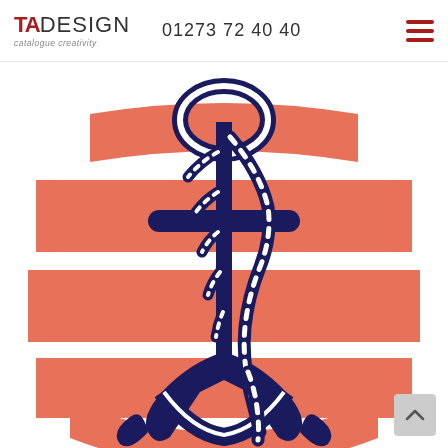TA DESIGN catalogue creativity | 01273 72 40 40
[Figure (illustration): Nautical illustration of a navy blue anchor with rope wrapped around it, set against a white background with coral/salmon horizontal stripes forming a circular shield shape.]